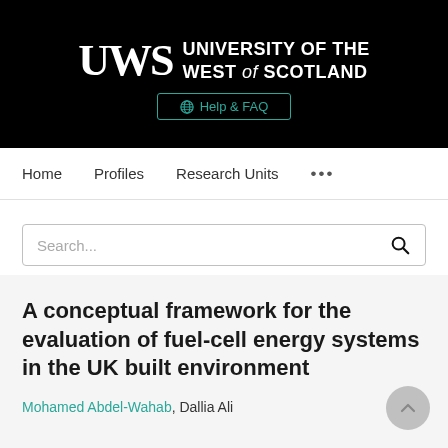[Figure (logo): University of the West of Scotland (UWS) logo on black background with Help & FAQ button]
Home   Profiles   Research Units   ...
Search...
A conceptual framework for the evaluation of fuel-cell energy systems in the UK built environment
Mohamed Abdel-Wahab, Dallia Ali